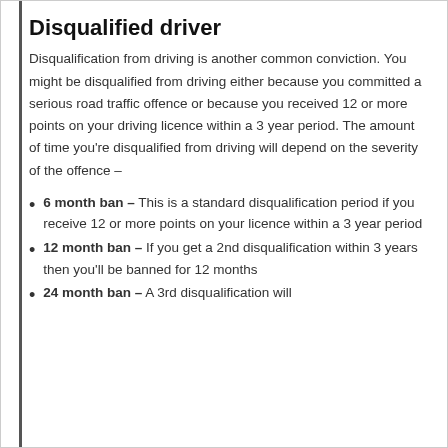Disqualified driver
Disqualification from driving is another common conviction. You might be disqualified from driving either because you committed a serious road traffic offence or because you received 12 or more points on your driving licence within a 3 year period. The amount of time you're disqualified from driving will depend on the severity of the offence –
6 month ban – This is a standard disqualification period if you receive 12 or more points on your licence within a 3 year period
12 month ban – If you get a 2nd disqualification within 3 years then you'll be banned for 12 months
24 month ban – A 3rd disqualification will